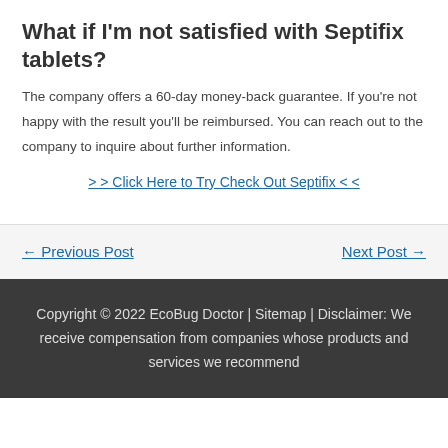What if I'm not satisfied with Septifix tablets?
The company offers a 60-day money-back guarantee. If you're not happy with the result you'll be reimbursed. You can reach out to the company to inquire about further information.
> > Click Here to Try Check Out Septifix < <
← Previous Post
Next Post →
Copyright © 2022 EcoBug Doctor | Sitemap | Disclaimer: We receive compensation from companies whose products and services we recommend